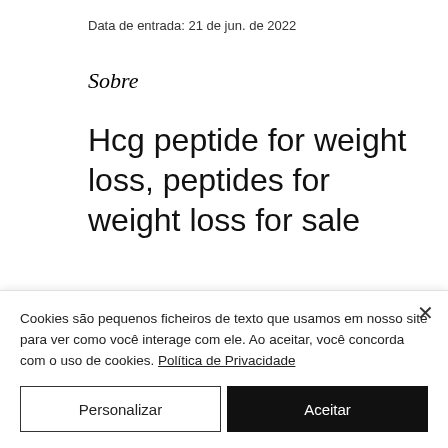Data de entrada: 21 de jun. de 2022
Sobre
Hcg peptide for weight loss, peptides for weight loss for sale
Hcg peptide for weight loss, peptides for weight loss for sale - Buy anabolic steroids online
Cookies são pequenos ficheiros de texto que usamos em nosso site para ver como você interage com ele. Ao aceitar, você concorda com o uso de cookies. Política de Privacidade